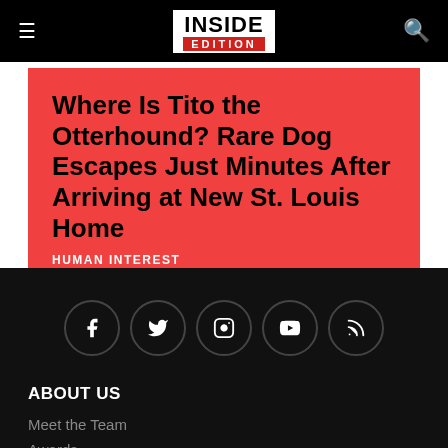INSIDE EDITION
Where Is Tito the Otterhound? Rare Dog Escapes Just Minutes After Arriving at New St. Louis Home
HUMAN INTEREST
[Figure (other): Social media icon row with Facebook, Twitter, Instagram, YouTube, and RSS icons in dark circular buttons on black background]
ABOUT US
Meet the Team
Awards
Contact